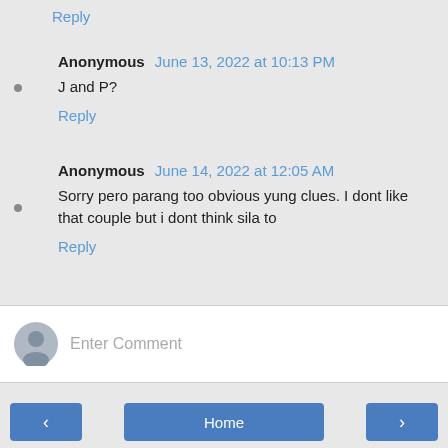Reply
Anonymous June 13, 2022 at 10:13 PM
J and P?
Reply
Anonymous June 14, 2022 at 12:05 AM
Sorry pero parang too obvious yung clues. I dont like that couple but i dont think sila to
Reply
Enter Comment
< Home >